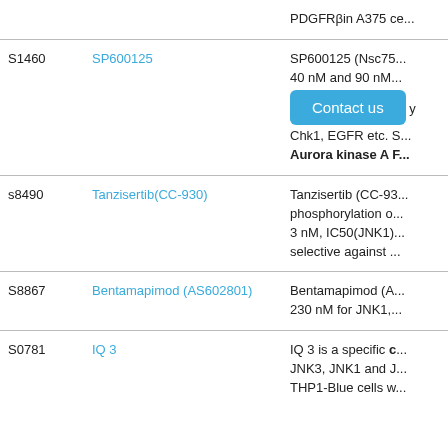| Cat No. | Product Name | Description |
| --- | --- | --- |
|  |  | PDGFRβin A375 ce... |
| S1460 | SP600125 | SP600125 (Nsc75...
40 nM and 90 nM...
[Contact us]
Chk1, EGFR etc. S...
Aurora kinase A F... |
| s8490 | Tanzisertib(CC-930) | Tanzisertib (CC-93...
phosphorylation o...
3 nM, IC50(JNK1)...
selective against ... |
| S8867 | Bentamapimod (AS602801) | Bentamapimod (A...
230 nM for JNK1,... |
| S0781 | IQ 3 | IQ 3 is a specific c...
JNK3, JNK1 and J...
THP1-Blue cells w... |